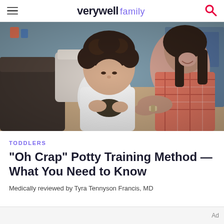verywell family
[Figure (photo): A toddler with curly dark hair in a white shirt sits while a smiling woman in a plaid shirt interacts with the child, in a home setting.]
TODDLERS
"Oh Crap" Potty Training Method —What You Need to Know
Medically reviewed by Tyra Tennyson Francis, MD